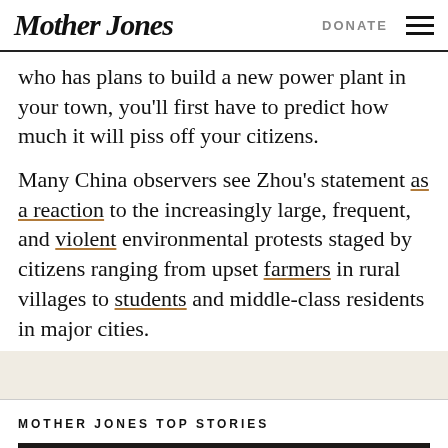Mother Jones | DONATE
who has plans to build a new power plant in your town, you'll first have to predict how much it will piss off your citizens.
Many China observers see Zhou's statement as a reaction to the increasingly large, frequent, and violent environmental protests staged by citizens ranging from upset farmers in rural villages to students and middle-class residents in major cities.
MOTHER JONES TOP STORIES
[Figure (photo): Dark photograph of a figure, partially visible, against a dark background]